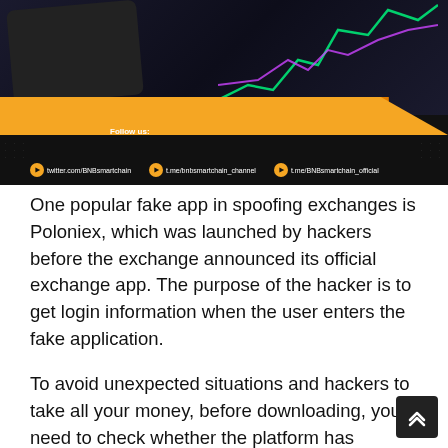[Figure (photo): BNB Smart Chain promotional banner with dark background showing a phone and stock chart lines. Yellow/orange diagonal bar. Follow us section with Twitter and Telegram social links: twitter.com/BNBsmartchain, t.me/bnbsmartchain_channel, t.me/BNBsmartchain_official]
One popular fake app in spoofing exchanges is Poloniex, which was launched by hackers before the exchange announced its official exchange app. The purpose of the hacker is to get login information when the user enters the fake application.
To avoid unexpected situations and hackers to take all your money, before downloading, you need to check whether the platform has announced the application or not, whether you have downloaded the correct official application or not. One thing you need to do is two-factor authentication (2FA), so